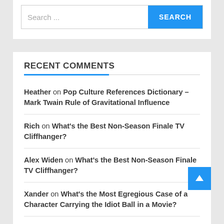Search ...
RECENT COMMENTS
Heather on Pop Culture References Dictionary – Mark Twain Rule of Gravitational Influence
Rich on What's the Best Non-Season Finale TV Cliffhanger?
Alex Widen on What's the Best Non-Season Finale TV Cliffhanger?
Xander on What's the Most Egregious Case of a Character Carrying the Idiot Ball in a Movie?
Commander Benson on What's the Most Egregious Case of a Character Carrying the Idiot Ball in a Movie?